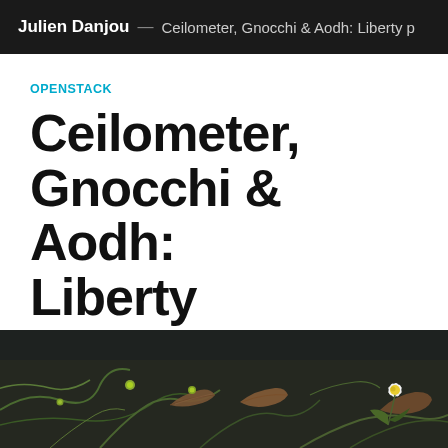Julien Danjou — Ceilometer, Gnocchi & Aodh: Liberty p
OPENSTACK
Ceilometer, Gnocchi & Aodh: Liberty progress
JULIEN DANJOU
4 AUG 2015 • 5 MIN READ
[Figure (photo): A close-up photograph of plant stems, dried leaves, and a small white flower with a yellow center on a dark background.]